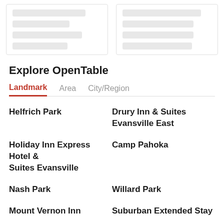[Figure (screenshot): Two skeleton/placeholder cards at the top of the page with grey loading bars]
Explore OpenTable
Landmark   Area   City/Region
Helfrich Park
Drury Inn & Suites Evansville East
Holiday Inn Express Hotel & Suites Evansville
Camp Pahoka
Nash Park
Willard Park
Mount Vernon Inn
Suburban Extended Stay